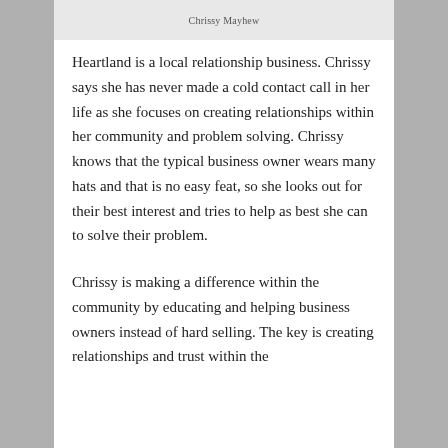Chrissy Mayhew
Heartland is a local relationship business. Chrissy says she has never made a cold contact call in her life as she focuses on creating relationships within her community and problem solving. Chrissy knows that the typical business owner wears many hats and that is no easy feat, so she looks out for their best interest and tries to help as best she can to solve their problem.
Chrissy is making a difference within the community by educating and helping business owners instead of hard selling. The key is creating relationships and trust within the